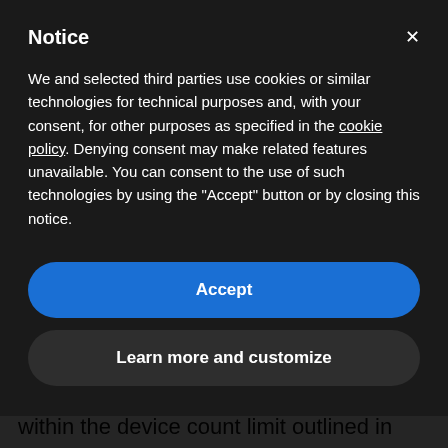Notice
We and selected third parties use cookies or similar technologies for technical purposes and, with your consent, for other purposes as specified in the cookie policy. Denying consent may make related features unavailable. You can consent to the use of such technologies by using the "Accept" button or by closing this notice.
Accept
Learn more and customize
should I expect?
Your Bitdefender license you purchased from Mr Key Shop is bound to your account. Therefore, as long as you stay within the device count limit outlined in your plan, you'll only have to reinstall the software on your computer or a